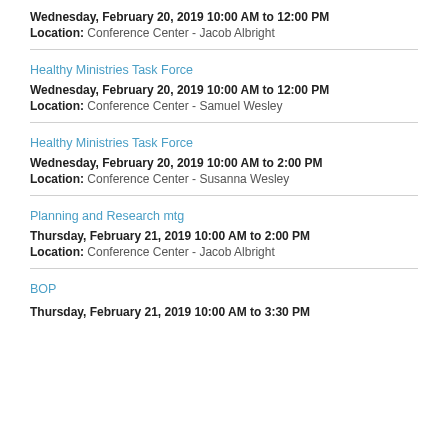Wednesday, February 20, 2019 10:00 AM to 12:00 PM
Location: Conference Center - Jacob Albright
Healthy Ministries Task Force
Wednesday, February 20, 2019 10:00 AM to 12:00 PM
Location: Conference Center - Samuel Wesley
Healthy Ministries Task Force
Wednesday, February 20, 2019 10:00 AM to 2:00 PM
Location: Conference Center - Susanna Wesley
Planning and Research mtg
Thursday, February 21, 2019 10:00 AM to 2:00 PM
Location: Conference Center - Jacob Albright
BOP
Thursday, February 21, 2019 10:00 AM to 3:30 PM